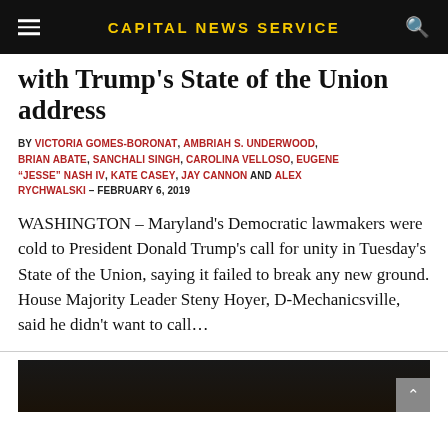CAPITAL NEWS SERVICE
with Trump's State of the Union address
BY VICTORIA GOMES-BORONAT, AMBRIAH S. UNDERWOOD, BRIAN ABATE, SANCHALI SINGH, CAROLINA VELLOSO, EUGENE "JESSE" NASH IV, KATE CASEY, JAY CANNON AND ALEX RYCHWALSKI – FEBRUARY 6, 2019
WASHINGTON – Maryland's Democratic lawmakers were cold to President Donald Trump's call for unity in Tuesday's State of the Union, saying it failed to break any new ground. House Majority Leader Steny Hoyer, D-Mechanicsville, said he didn't want to call...
[Figure (photo): Dark photograph, partially visible at bottom of page]